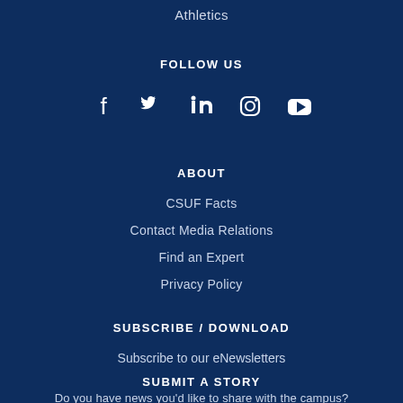Athletics
FOLLOW US
[Figure (other): Social media icons: Facebook, Twitter, LinkedIn, Instagram, YouTube]
ABOUT
CSUF Facts
Contact Media Relations
Find an Expert
Privacy Policy
SUBSCRIBE / DOWNLOAD
Subscribe to our eNewsletters
SUBMIT A STORY
Do you have news you'd like to share with the campus?